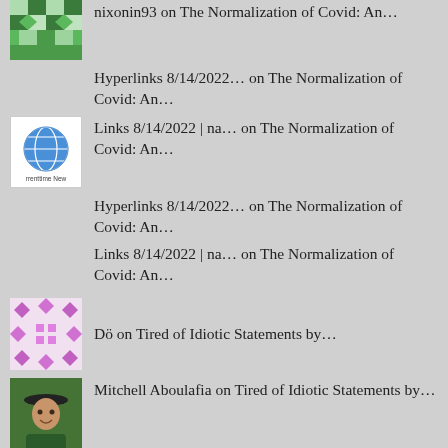nixonin93 on The Normalization of Covid: An…
Hyperlinks 8/14/2022… on The Normalization of Covid: An…
Links 8/14/2022 | na… on The Normalization of Covid: An…
Hyperlinks 8/14/2022… on The Normalization of Covid: An…
Links 8/14/2022 | na… on The Normalization of Covid: An…
Dö on Tired of Idiotic Statements by…
Mitchell Aboulafia on Tired of Idiotic Statements by…
NB on Tired of Idiotic Statements by…
Mitchell Aboulafia on Tired of Idiotic Statements by…